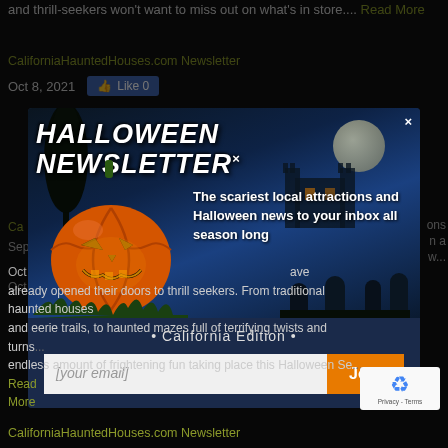and thrill-seekers won't want to miss out on what's in store.... Read More
CaliforniaHauntedHouses.com Newsletter
Oct 8, 2021   Like 0
[Figure (screenshot): Halloween Newsletter modal popup with jack-o-lantern, haunted house background, text 'HALLOWEEN NEWSLETTER', tagline 'The scariest local attractions and Halloween news to your inbox all season long', '• California Edition •', email input field, and orange Join button]
already opened their doors to thrill seekers. From traditional haunted houses and eerie trails, to haunted mazes full of terrifying twists and turns, there's an endless amount of frightening fun taking place this Halloween Se... Read More
CaliforniaHauntedHouses.com Newsletter